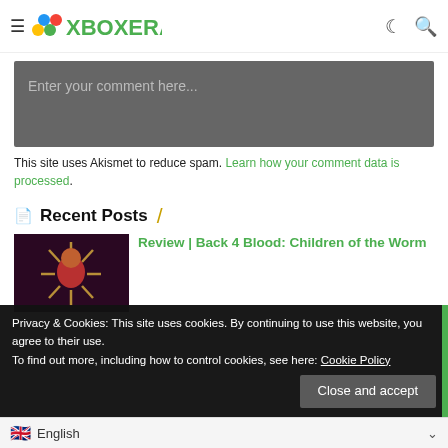XBOXERA
Enter your comment here...
This site uses Akismet to reduce spam. Learn how your comment data is processed.
Recent Posts
Review | Back 4 Blood: Children of the Worm
Privacy & Cookies: This site uses cookies. By continuing to use this website, you agree to their use.
To find out more, including how to control cookies, see here: Cookie Policy
Close and accept
English